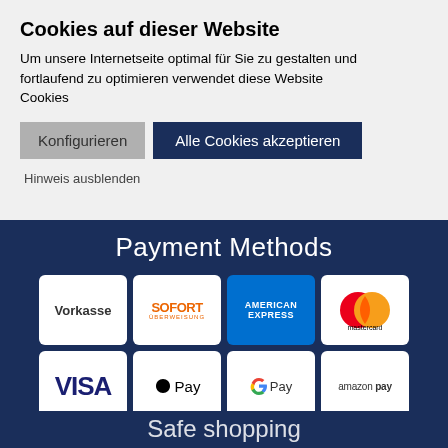Cookies auf dieser Website
Um unsere Internetseite optimal für Sie zu gestalten und fortlaufend zu optimieren verwendet diese Website Cookies
Konfigurieren
Alle Cookies akzeptieren
Hinweis ausblenden
Payment Methods
[Figure (infographic): Payment method logos in a 4x2 grid: Vorkasse, SOFORT Überweisung, American Express, Mastercard, VISA, Apple Pay, Google Pay, Amazon Pay]
Safe shopping